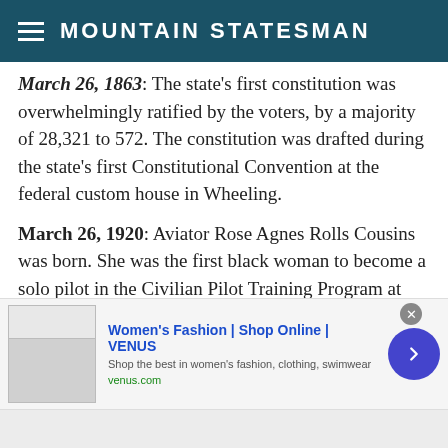MOUNTAIN STATESMAN
March 26, 1863: The state's first constitution was overwhelmingly ratified by the voters, by a majority of 28,321 to 572. The constitution was drafted during the state's first Constitutional Convention at the federal custom house in Wheeling.
March 26, 1920: Aviator Rose Agnes Rolls Cousins was born. She was the first black woman to become a solo pilot in the Civilian Pilot Training Program at West Virginia State College (now University).
[Figure (infographic): Advertisement banner for Women's Fashion | Shop Online | VENUS. Shows a website screenshot thumbnail on the left, ad title in blue, description text, venus.com URL in green, and a blue circular arrow button on the right. Close button (x) in top right corner.]